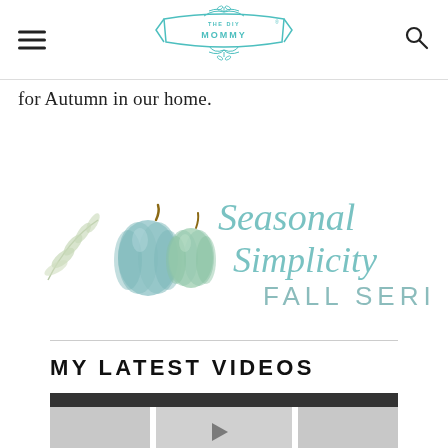THE DIY MOMMY
for Autumn in our home.
[Figure (illustration): Seasonal Simplicity Fall Series banner with watercolor pumpkins and foliage in teal/blue tones]
MY LATEST VIDEOS